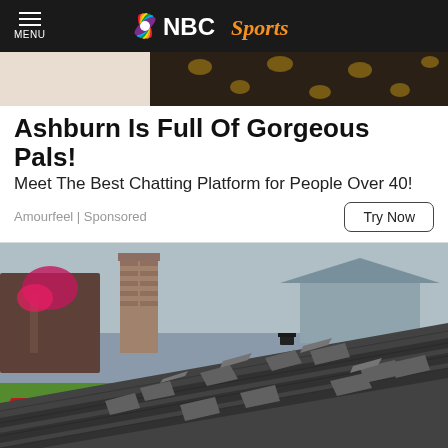MENU | NBC Sports
[Figure (photo): Partial photo showing leopard print and light background — top of an advertisement image]
Ashburn Is Full Of Gorgeous Pals!
Meet The Best Chatting Platform for People Over 40!
Amourfeel | Sponsored
Try Now
[Figure (photo): Photograph of a damaged roof with curling and missing asphalt shingles; a brick chimney is visible on the left, with trees and a neighboring house in the background]
5 Best Roofing Companies In Ashburn